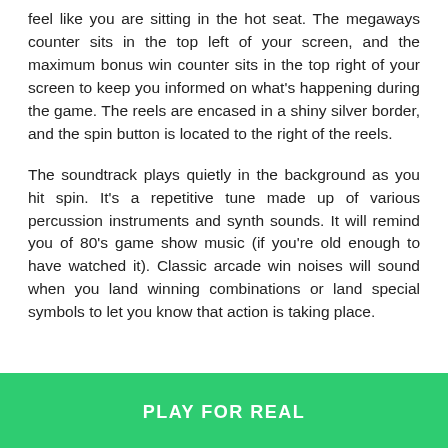feel like you are sitting in the hot seat. The megaways counter sits in the top left of your screen, and the maximum bonus win counter sits in the top right of your screen to keep you informed on what's happening during the game. The reels are encased in a shiny silver border, and the spin button is located to the right of the reels.
The soundtrack plays quietly in the background as you hit spin. It's a repetitive tune made up of various percussion instruments and synth sounds. It will remind you of 80's game show music (if you're old enough to have watched it). Classic arcade win noises will sound when you land winning combinations or land special symbols to let you know that action is taking place.
PLAY FOR REAL